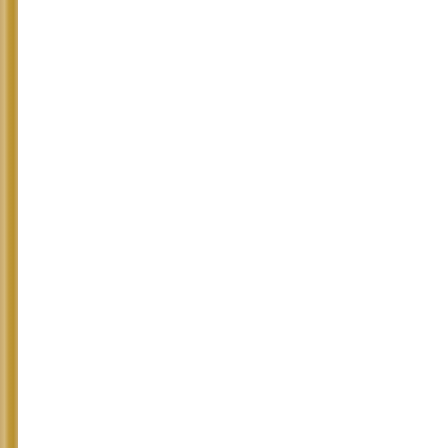So why did Ev... principal E.L...
Saturday 7 Fe...
The Labor par...
Monday 9 Feb...
Eve Gardiner ... determination...
She told me th...
25 March 2004...
I called the CM...
I spoke to Lee...